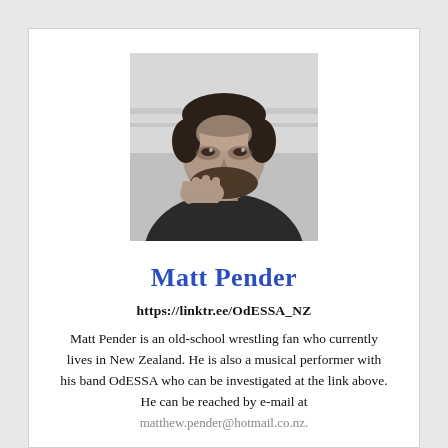[Figure (photo): Black and white portrait photo of Matt Pender, a man resting his chin on his hand, looking thoughtfully to the side, with a beard and dark hair.]
Matt Pender
https://linktr.ee/OdESSA_NZ
Matt Pender is an old-school wrestling fan who currently lives in New Zealand. He is also a musical performer with his band OdESSA who can be investigated at the link above. He can be reached by e-mail at matthew.pender@hotmail.co.nz.